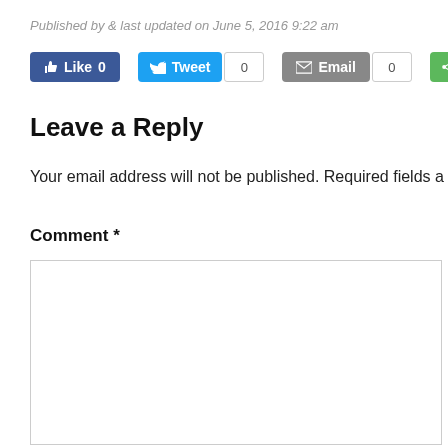Published by & last updated on June 5, 2016 9:22 am
[Figure (screenshot): Social sharing buttons: Like (0), Tweet (0), Email (0), Share]
Leave a Reply
Your email address will not be published. Required fields a
Comment *
[Figure (screenshot): Empty comment text area form field]